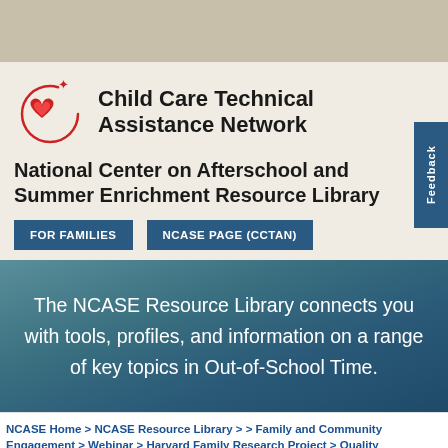[Figure (logo): Child Care Technical Assistance Network logo with red heart and star, organization name text]
National Center on Afterschool and Summer Enrichment Resource Library
FOR FAMILIES | NCASE PAGE (CCTAN)
The NCASE Resource Library connects you with tools, profiles, and information on a range of key topics in Out-of-School Time.
NCASE Home > NCASE Resource Library > > Family and Community Engagement > Webinar > Harvard Family Research Project > Quality